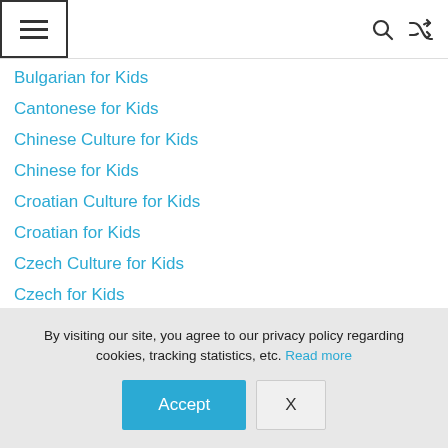Menu | Search | Shuffle
Bulgarian for Kids
Cantonese for Kids
Chinese Culture for Kids
Chinese for Kids
Croatian Culture for Kids
Croatian for Kids
Czech Culture for Kids
Czech for Kids
By visiting our site, you agree to our privacy policy regarding cookies, tracking statistics, etc. Read more
Accept | X